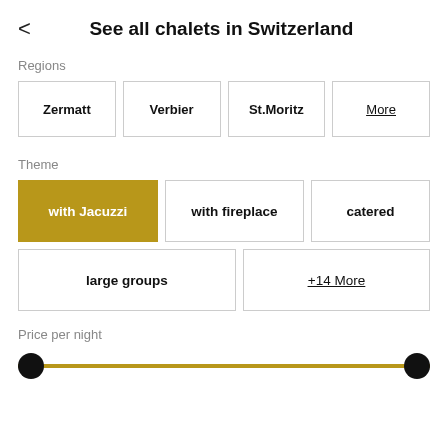See all chalets in Switzerland
Regions
Zermatt
Verbier
St.Moritz
More
Theme
with Jacuzzi
with fireplace
catered
large groups
+14 More
Price per night
[Figure (infographic): A price range slider with a gold-colored track, left thumb at minimum position and right thumb at maximum position.]